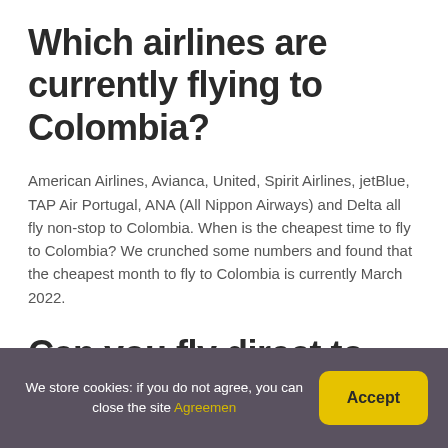Which airlines are currently flying to Colombia?
American Airlines, Avianca, United, Spirit Airlines, jetBlue, TAP Air Portugal, ANA (All Nippon Airways) and Delta all fly non-stop to Colombia. When is the cheapest time to fly to Colombia? We crunched some numbers and found that the cheapest month to fly to Colombia is currently March 2022.
Can you fly direct to
We store cookies: if you do not agree, you can close the site Agreemen